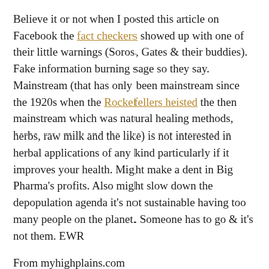Believe it or not when I posted this article on Facebook the fact checkers showed up with one of their little warnings (Soros, Gates & their buddies). Fake information burning sage so they say.  Mainstream (that has only been mainstream since the 1920s when the Rockefellers heisted the then mainstream which was natural healing methods, herbs, raw milk and the like) is not interested in herbal applications of any kind particularly if it improves your health. Might make a dent in Big Pharma's profits. Also might slow down the depopulation agenda it's not sustainable having too many people on the planet. Someone has to go & it's not them. EWR
From myhighplains.com
The burning of sage has long been a spiritual ritual — but new research shows it can have more benefits than you might think.